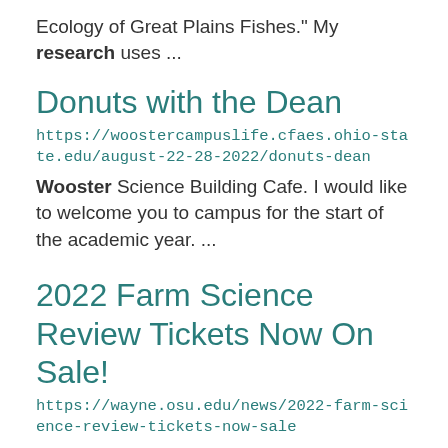Ecology of Great Plains Fishes." My research uses ...
Donuts with the Dean
https://woostercampuslife.cfaes.ohio-state.edu/august-22-28-2022/donuts-dean
Wooster Science Building Cafe. I would like to welcome you to campus for the start of the academic year. ...
2022 Farm Science Review Tickets Now On Sale!
https://wayne.osu.edu/news/2022-farm-science-review-tickets-now-sale
Farm Science Review is around the corner!